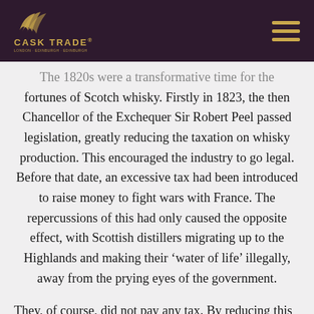CASK TRADE®
The 1820s were a transformative time for the fortunes of Scotch whisky. Firstly in 1823, the then Chancellor of the Exchequer Sir Robert Peel passed legislation, greatly reducing the taxation on whisky production. This encouraged the industry to go legal. Before that date, an excessive tax had been introduced to raise money to fight wars with France. The repercussions of this had only caused the opposite effect, with Scottish distillers migrating up to the Highlands and making their ‘water of life’ illegally, away from the prying eyes of the government.
They, of course, did not pay any tax. By reducing this